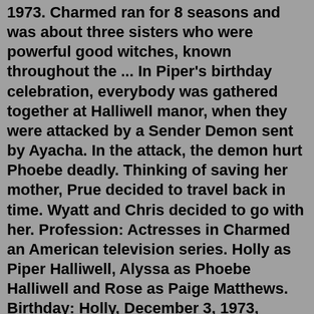1973. Charmed ran for 8 seasons and was about three sisters who were powerful good witches, known throughout the ... In Piper's birthday celebration, everybody was gathered together at Halliwell manor, when they were attacked by a Sender Demon sent by Ayacha. In the attack, the demon hurt Phoebe deadly. Thinking of saving her mother, Prue decided to travel back in time. Wyatt and Chris decided to go with her. Profession: Actresses in Charmed an American television series. Holly as Piper Halliwell, Alyssa as Phoebe Halliwell and Rose as Paige Matthews. Birthday: Holly, December 3, 1973, Alyssa, December 19, 1972, Rose, September 5, 1973. Charmed ran for 8 seasons and was about three sisters who were powerful good witches, known throughout the ... "Charmed" Prince Charmed (TV Episode 2004) Holly Marie Combs as Piper Halliwell Profession: Actresses in Charmed an American television series. Holly as Piper Halliwell, Alyssa as Phoebe Halliwell and Rose as Paige Matthews. Birthday: Holly, December 3, 1973, Alyssa, December 19, 1972, Rose,